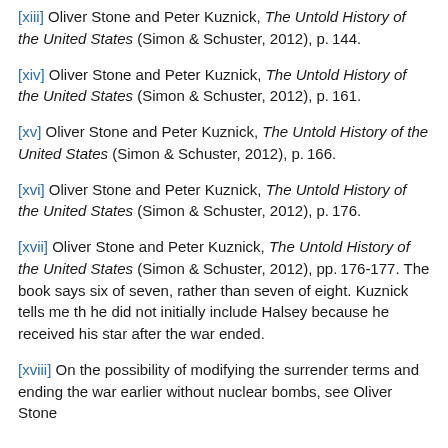[xiii] Oliver Stone and Peter Kuznick, The Untold History of the United States (Simon & Schuster, 2012), p. 144.
[xiv] Oliver Stone and Peter Kuznick, The Untold History of the United States (Simon & Schuster, 2012), p. 161.
[xv] Oliver Stone and Peter Kuznick, The Untold History of the United States (Simon & Schuster, 2012), p. 166.
[xvi] Oliver Stone and Peter Kuznick, The Untold History of the United States (Simon & Schuster, 2012), p. 176.
[xvii] Oliver Stone and Peter Kuznick, The Untold History of the United States (Simon & Schuster, 2012), pp. 176-177. The book says six of seven, rather than seven of eight. Kuznick tells me that he did not initially include Halsey because he received his star after the war ended.
[xviii] On the possibility of modifying the surrender terms and ending the war earlier without nuclear bombs, see Oliver Stone